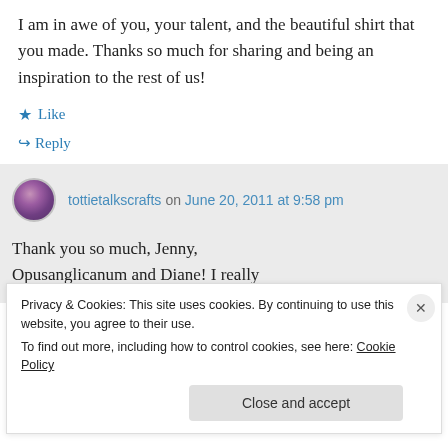I am in awe of you, your talent, and the beautiful shirt that you made. Thanks so much for sharing and being an inspiration to the rest of us!
★ Like
↳ Reply
tottietalkscrafts on June 20, 2011 at 9:58 pm
Thank you so much, Jenny,
Opusanglicanum and Diane! I really
Privacy & Cookies: This site uses cookies. By continuing to use this website, you agree to their use.
To find out more, including how to control cookies, see here: Cookie Policy
Close and accept